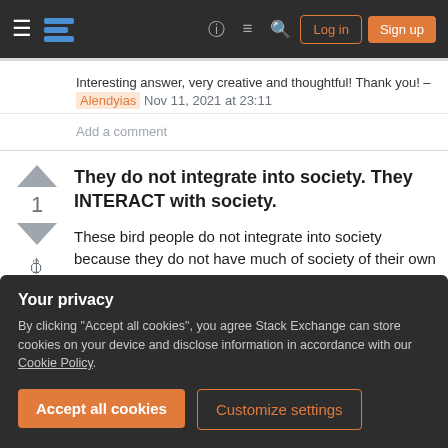Stack Exchange navigation bar with Log in and Sign up buttons
Interesting answer, very creative and thoughtful! Thank you! – Alendyias Nov 11, 2021 at 23:11
Add a comment
They do not integrate into society. They INTERACT with society.
These bird people do not integrate into society because they do not have much of society of their own to begin with. The real question is how they
Your privacy
By clicking "Accept all cookies", you agree Stack Exchange can store cookies on your device and disclose information in accordance with our Cookie Policy.
Accept all cookies
Customize settings